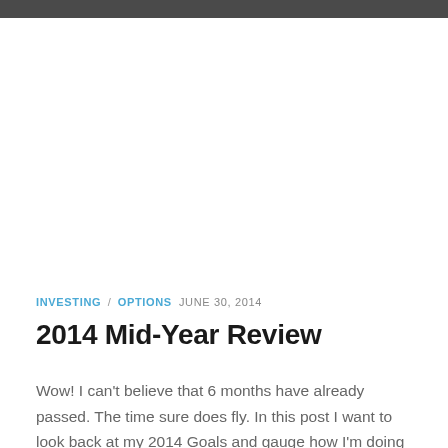INVESTING / OPTIONS  JUNE 30, 2014
2014 Mid-Year Review
Wow! I can't believe that 6 months have already passed. The time sure does fly. In this post I want to look back at my 2014 Goals and gauge how I'm doing so far. Goals for 2014: 1) Max